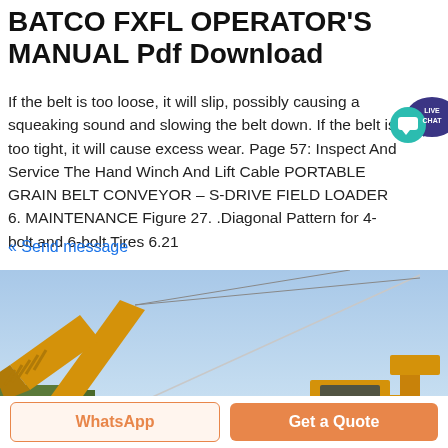BATCO FXFL OPERATOR'S MANUAL Pdf Download
If the belt is too loose, it will slip, possibly causing a squeaking sound and slowing the belt down. If the belt is too tight, it will cause excess wear. Page 57: Inspect And Service The Hand Winch And Lift Cable PORTABLE GRAIN BELT CONVEYOR – S-DRIVE FIELD LOADER 6. MAINTENANCE Figure 27. .Diagonal Pattern for 4-bolt and 6-bolt Tires 6.21
« Send message
[Figure (photo): Yellow grain belt conveyor and field loader equipment against a blue sky, showing the raised conveyor arm and loader cab.]
WhatsApp
Get a Quote